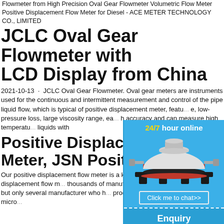Flowmeter from High Precision Oval Gear Flowmeter Volumetric Flow Meter Positive Displacement Flow Meter for Diesel - ACE METER TECHNOLOGY CO., LIMITED
JCLC Oval Gear Flowmeter with LCD Display from China
2021-10-13 · JCLC Oval Gear Flowmeter. Oval gear meters are instruments used for the continuous and intermittent measurement and control of the pipe liquid flow, which is typical of positive displacement meter, featu... e, low-pressure loss, large viscosity range, ea... h accuracy and can measure high temperatu... liquids with
Positive Displacement Meter, JSN Positive ...
Our positive displacement flow meter is a k... ow meter ,along to positive displacement flow m... thousands of manufacturers who can produ... meter. but only several manufacturer who h... produce micro liquid flow meter. JSN micro...
[Figure (other): Advertisement overlay with '24/7 hour online' header in yellow/white text on blue background, image of industrial cone crusher machine in white/red/black, 'Click me to chat>>' button, 'Enquiry' section, and 'limingjlmofen' username label]